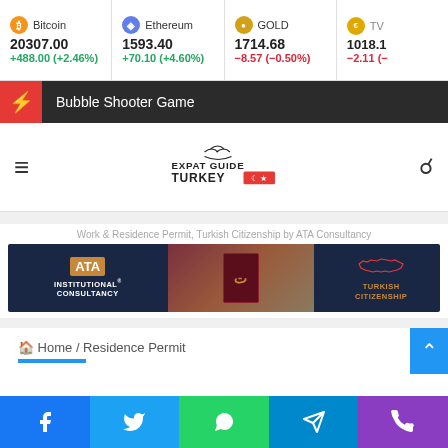[Figure (screenshot): Ticker bar showing Bitcoin 20307.00 +488.00 (+2.46%), Ethereum 1593.40 +70.10 (+4.60%), GOLD 1714.68 -8.57 (-0.50%), and partially visible ticker 1018.1 -2.11]
Bubble Shooter Game
[Figure (logo): Expat Guide Turkey logo with hamburger menu and search icon]
[Figure (infographic): ATA Institutional Consultancy advertisement banner for Turkish Citizenship - Work & Residence Permit, Turkish Citizenship by ATA Consultancy]
Home / Residence Permit
[Figure (screenshot): Social media share buttons: Facebook, Twitter, WhatsApp, Telegram, Phone]